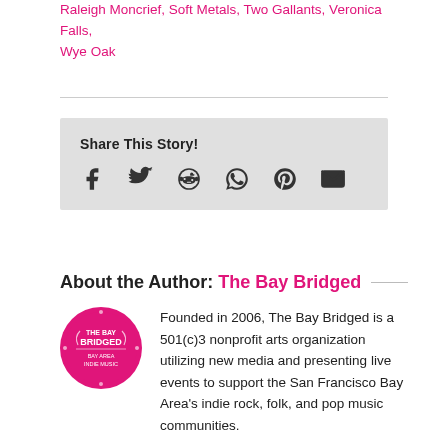Raleigh Moncrief, Soft Metals, Two Gallants, Veronica Falls, Wye Oak
[Figure (infographic): Share This Story box with social media icons: Facebook, Twitter, Reddit, WhatsApp, Pinterest, Email]
About the Author: The Bay Bridged
[Figure (logo): The Bay Bridged circular logo in pink with text THE BAY BRIDGED BAY AREA INDIE MUSIC]
Founded in 2006, The Bay Bridged is a 501(c)3 nonprofit arts organization utilizing new media and presenting live events to support the San Francisco Bay Area's indie rock, folk, and pop music communities.